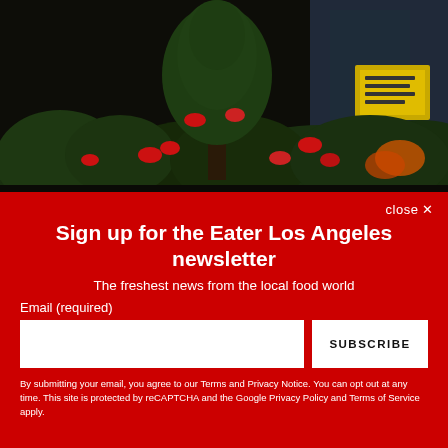[Figure (photo): Nighttime outdoor photo showing decorative bushes and trees with red ribbons/flowers, glass storefront visible in background with yellow signage]
close ✕
Sign up for the Eater Los Angeles newsletter
The freshest news from the local food world
Email (required)
SUBSCRIBE
By submitting your email, you agree to our Terms and Privacy Notice. You can opt out at any time. This site is protected by reCAPTCHA and the Google Privacy Policy and Terms of Service apply.